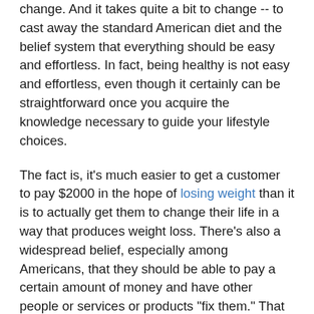change. And it takes quite a bit to change -- to cast away the standard American diet and the belief system that everything should be easy and effortless. In fact, being healthy is not easy and effortless, even though it certainly can be straightforward once you acquire the knowledge necessary to guide your lifestyle choices.
The fact is, it's much easier to get a customer to pay $2000 in the hope of losing weight than it is to actually get them to change their life in a way that produces weight loss. There's also a widespread belief, especially among Americans, that they should be able to pay a certain amount of money and have other people or services or products "fix them." That is, they shouldn't really have to do anything on their own, they should just be able to hire out these services that will make them healthy or thin. It's the mindset of hiring a cleaning company to clean your house, or hiring a car mechanic to fix your car. People mistakenly apply this thinking to their own